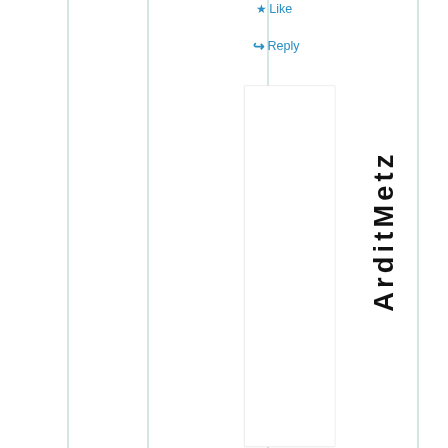Like
Reply
[Figure (other): White content box/card area]
ArditMetz